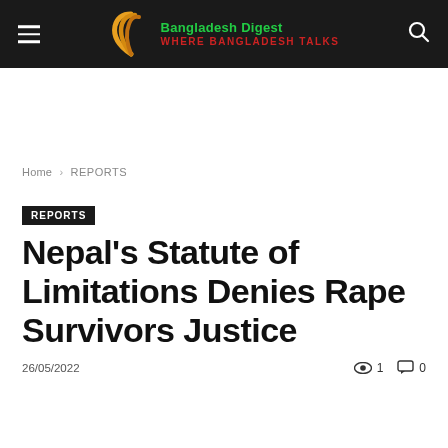Bangladesh Digest — WHERE BANGLADESH TALKS
Home › REPORTS
REPORTS
Nepal's Statute of Limitations Denies Rape Survivors Justice
26/05/2022  👁 1  💬 0